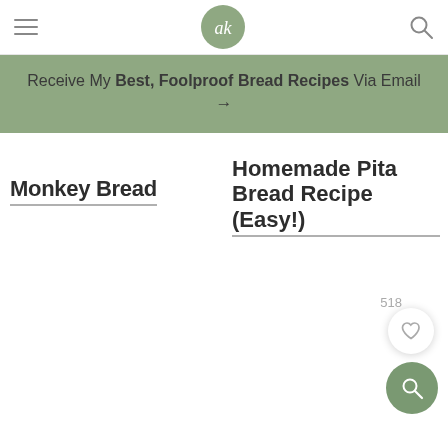ak
Receive My Best, Foolproof Bread Recipes Via Email →
Monkey Bread
Homemade Pita Bread Recipe (Easy!)
518